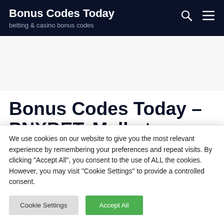Bonus Codes Today
betting & casino bonus codes
[Figure (other): Advertisement/empty ad space placeholder]
Bonus Codes Today – PNXBET, Melbet promo
We use cookies on our website to give you the most relevant experience by remembering your preferences and repeat visits. By clicking "Accept All", you consent to the use of ALL the cookies. However, you may visit "Cookie Settings" to provide a controlled consent.
Cookie Settings  Accept All